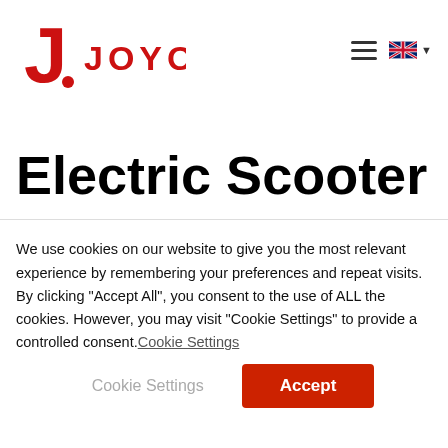[Figure (logo): Joyor brand logo with red stylized J letter and red JOYOR text]
Electric Scooter
We use cookies on our website to give you the most relevant experience by remembering your preferences and repeat visits. By clicking “Accept All”, you consent to the use of ALL the cookies. However, you may visit "Cookie Settings" to provide a controlled consent.Cookie Settings